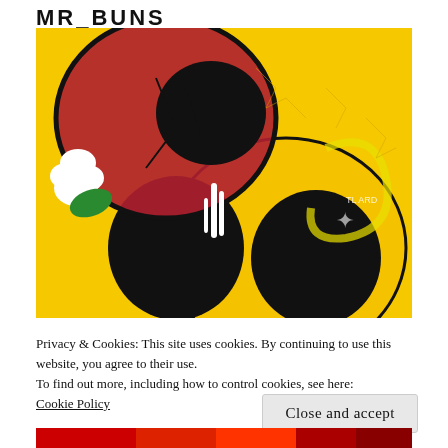MR_BUNS
[Figure (photo): Graffiti street art painting showing a skull within a broken heart shape on a yellow background with black outlines, colorful urban mural style]
Privacy & Cookies: This site uses cookies. By continuing to use this website, you agree to their use.
To find out more, including how to control cookies, see here:
Cookie Policy
Close and accept
[Figure (photo): Bottom sliver of another graffiti artwork visible at the bottom edge]